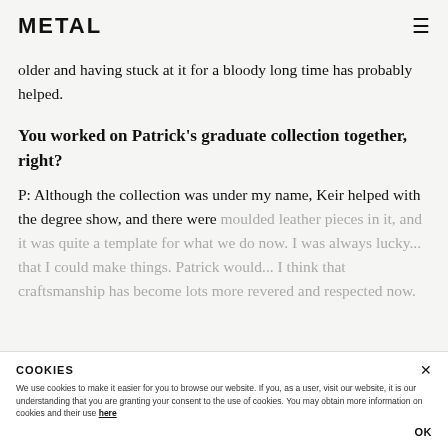METAL
older and having stuck at it for a bloody long time has probably helped.
You worked on Patrick's graduate collection together, right?
P: Although the collection was under my name, Keir helped with the degree show, and there were moulded leather pieces in it, and it was quite a template for what we do now. I was always lucky... that I could make things. Patrick would... I think that craftsmanship has become lots more revered and respected now.
COOKIES
We use cookies to make it easier for you to browse our website. If you, as a user, visit our website, it is our understanding that you are granting your consent to the use of cookies. You may obtain more information on cookies and their use here
OK